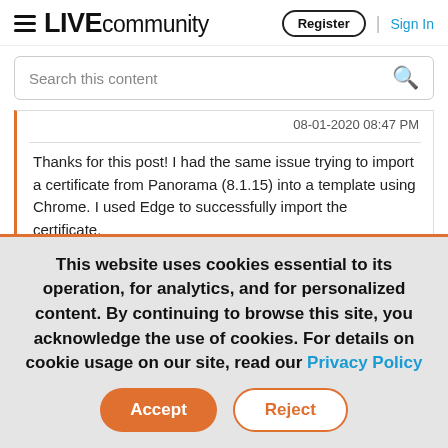LIVE community — Register | Sign In
Search this content
08-01-2020 08:47 PM
Thanks for this post!  I had the same issue trying to import a certificate from Panorama (8.1.15) into a template using Chrome.  I used Edge to successfully import the certificate.
This website uses cookies essential to its operation, for analytics, and for personalized content. By continuing to browse this site, you acknowledge the use of cookies. For details on cookie usage on our site, read our Privacy Policy
Accept   Reject